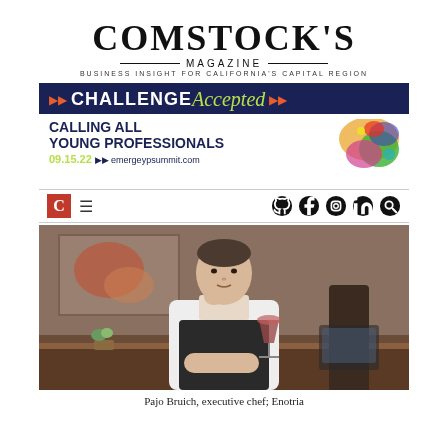COMSTOCK'S MAGAZINE — BUSINESS INSIGHT FOR CALIFORNIA'S CAPITAL REGION
[Figure (infographic): Challenge Accepted advertisement banner — dark navy background with 'CHALLENGE Accepted' text, below reads 'CALLING ALL YOUNG PROFESSIONALS' with date 09.15.22 and emergeypsummit.com, colorful paint splash on right]
[Figure (screenshot): Comstock's Magazine website navigation bar with red C logo, hamburger menu, and social media icons (Twitter, Facebook, Instagram, LinkedIn, Search)]
[Figure (photo): Pajo Bruich, executive chef at Enotria, seated at a table in chef whites and black apron, holding a glass of red wine, with artwork in background]
Pajo Bruich, executive chef; Enotria